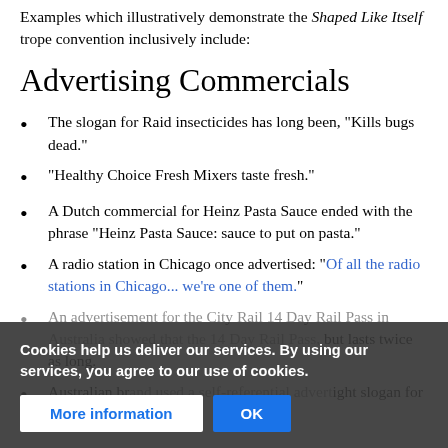Examples which illustratively demonstrate the Shaped Like Itself trope convention inclusively include:
Advertising Commercials
The slogan for Raid insecticides has long been, "Kills bugs dead."
"Healthy Choice Fresh Mixers taste fresh."
A Dutch commercial for Heinz Pasta Sauce ended with the phrase "Heinz Pasta Sauce: sauce to put on pasta."
A radio station in Chicago once advertised: "Of all the radio stations in Chicago... we're one of them."
An advertisement for the City Rail 14 Day Rail Pass in [blurred] the 14 Day Rail Pass, but lasts twice as long.
Australian br[blurred] ight slogan for [blurred]
Cookies help us deliver our services. By using our services, you agree to our use of cookies.